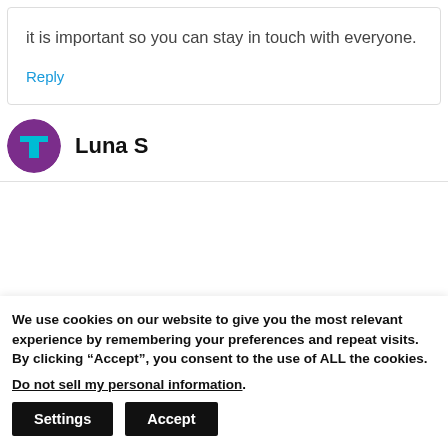it is important so you can stay in touch with everyone.
Reply
Luna S
We use cookies on our website to give you the most relevant experience by remembering your preferences and repeat visits. By clicking “Accept”, you consent to the use of ALL the cookies.
Do not sell my personal information.
Settings
Accept